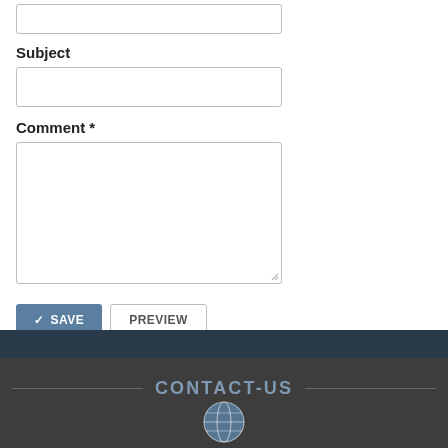Subject
Comment *
SAVE
PREVIEW
CONTACT-US